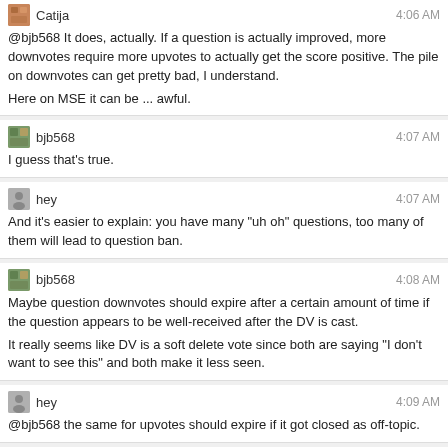Catija — 4:06 AM
@bjb568 It does, actually. If a question is actually improved, more downvotes require more upvotes to actually get the score positive. The pile on downvotes can get pretty bad, I understand.
Here on MSE it can be ... awful.
bjb568 — 4:07 AM
I guess that's true.
hey — 4:07 AM
And it's easier to explain: you have many "uh oh" questions, too many of them will lead to question ban.
bjb568 — 4:08 AM
Maybe question downvotes should expire after a certain amount of time if the question appears to be well-received after the DV is cast.
It really seems like DV is a soft delete vote since both are saying "I don't want to see this" and both make it less seen.
hey — 4:09 AM
@bjb568 the same for upvotes should expire if it got closed as off-topic.
bjb568 — 4:09 AM
I agree with that.
Catija — 4:10 AM
The complication is making it simple to implement... something that might work is something similar to what they do with migrated posts... any post that's negatively scored when it's migrated, is reset to 0... they could do the same thing with closed